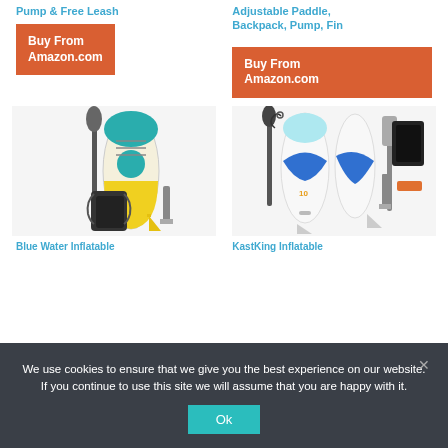Pump & Free Leash
Adjustable Paddle, Backpack, Pump, Fin
Buy From Amazon.com
Buy From Amazon.com
[Figure (photo): Blue Water inflatable stand-up paddleboard with paddle, pump, backpack and fin accessories]
[Figure (photo): KastKing inflatable stand-up paddleboard with paddle, pump, backpack and fin accessories]
Blue Water Inflatable
KastKing Inflatable
We use cookies to ensure that we give you the best experience on our website. If you continue to use this site we will assume that you are happy with it.
Ok